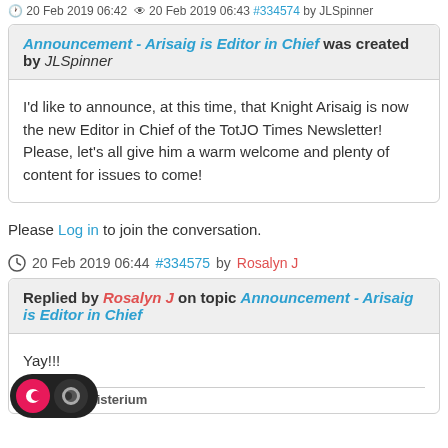20 Feb 2019 06:42  20 Feb 2019 06:43 #334574 by JLSpinner
Announcement - Arisaig is Editor in Chief was created by JLSpinner
I'd like to announce, at this time, that Knight Arisaig is now the new Editor in Chief of the TotJO Times Newsletter! Please, let's all give him a warm welcome and plenty of content for issues to come!
Please Log in to join the conversation.
20 Feb 2019 06:44 #334575 by Rosalyn J
Replied by Rosalyn J on topic Announcement - Arisaig is Editor in Chief
Yay!!!
Flat Per Ministerium